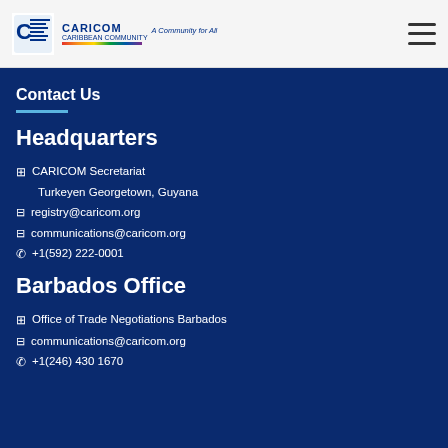CARICOM Caribbean Community — A Community for All
— President
July 29, 2022
Contact Us
Headquarters
🏢 CARICOM Secretariat
Turkeyen Georgetown, Guyana
📧 registry@caricom.org
📧 communications@caricom.org
📞 +1(592) 222-0001
Barbados Office
🏢 Office of Trade Negotiations Barbados
📧 communications@caricom.org
📞 +1(246) 430 1670